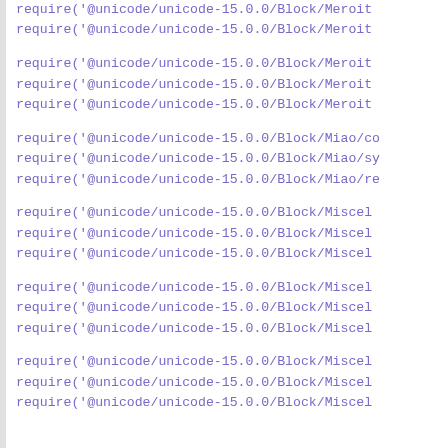require('@unicode/unicode-15.0.0/Block/Meroit...
require('@unicode/unicode-15.0.0/Block/Meroit...
require('@unicode/unicode-15.0.0/Block/Meroit...
require('@unicode/unicode-15.0.0/Block/Meroit...
require('@unicode/unicode-15.0.0/Block/Meroit...
require('@unicode/unicode-15.0.0/Block/Miao/co...
require('@unicode/unicode-15.0.0/Block/Miao/sy...
require('@unicode/unicode-15.0.0/Block/Miao/re...
require('@unicode/unicode-15.0.0/Block/Miscel...
require('@unicode/unicode-15.0.0/Block/Miscel...
require('@unicode/unicode-15.0.0/Block/Miscel...
require('@unicode/unicode-15.0.0/Block/Miscel...
require('@unicode/unicode-15.0.0/Block/Miscel...
require('@unicode/unicode-15.0.0/Block/Miscel...
require('@unicode/unicode-15.0.0/Block/Miscel...
require('@unicode/unicode-15.0.0/Block/Miscel...
require('@unicode/unicode-15.0.0/Block/Miscel...